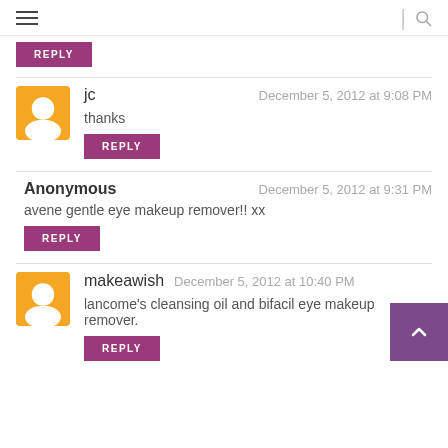≡  |  🔍
REPLY
jc   December 5, 2012 at 9:08 PM
thanks
REPLY
Anonymous   December 5, 2012 at 9:31 PM
avene gentle eye makeup remover!! xx
REPLY
makeawish   December 5, 2012 at 10:40 PM
lancome's cleansing oil and bifacil eye makeup remover.
REPLY